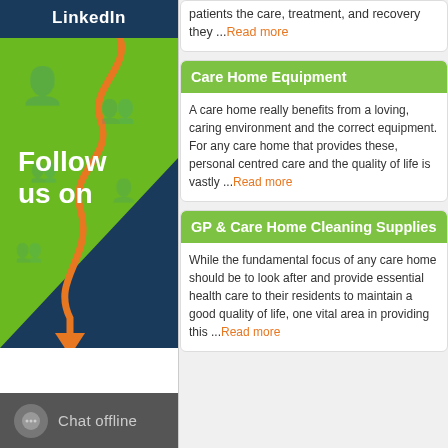LinkedIn
[Figure (illustration): LinkedIn Follow us on graphic with orange squiggly line and arrow on green and dark blue background]
Chat offline
patients the care, treatment, and recovery they ...Read more
Care Home Equipment
A care home really benefits from a loving, caring environment and the correct equipment. For any care home that provides these, personal centred care and the quality of life is vastly ...Read more
GP & Care Home Cleaning Supplies
While the fundamental focus of any care home should be to look after and provide essential health care to their residents to maintain a good quality of life, one vital area in providing this ...Read more